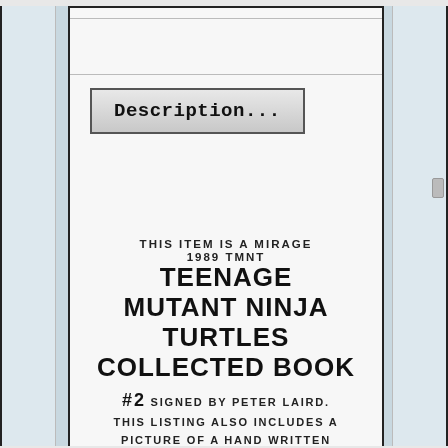[Figure (screenshot): A 'Description...' button/box with gradient background and monospace bold text]
THIS ITEM IS A MIRAGE 1989 TMNT TEENAGE MUTANT NINJA TURTLES COLLECTED BOOK #2 SIGNED BY PETER LAIRD. THIS LISTING ALSO INCLUDES A PICTURE OF A HAND WRITTEN NOTE FROM DAN BERGER TO PETER LAIRD ASKING HIM TO